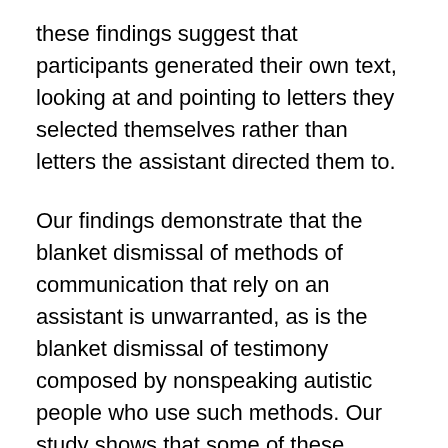these findings suggest that participants generated their own text, looking at and pointing to letters they selected themselves rather than letters the assistant directed them to.
Our findings demonstrate that the blanket dismissal of methods of communication that rely on an assistant is unwarranted, as is the blanket dismissal of testimony composed by nonspeaking autistic people who use such methods. Our study shows that some of these individuals can convey their own thoughts by pointing to letters on a letterboard held by another person.
The paper is freely available here, and the data on which the analyses were based are available at the Open Science Framework link here. Three videos showing participants in this study responding to questions were